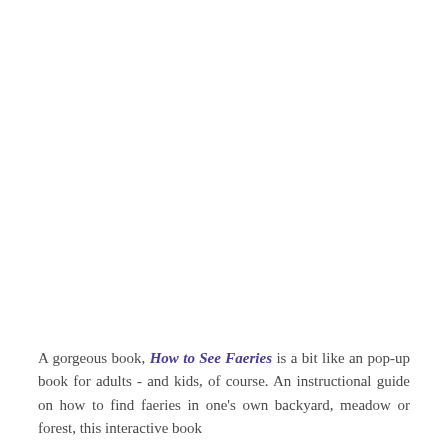A gorgeous book, How to See Faeries is a bit like an pop-up book for adults - and kids, of course. An instructional guide on how to find faeries in one's own backyard, meadow or forest, this interactive book